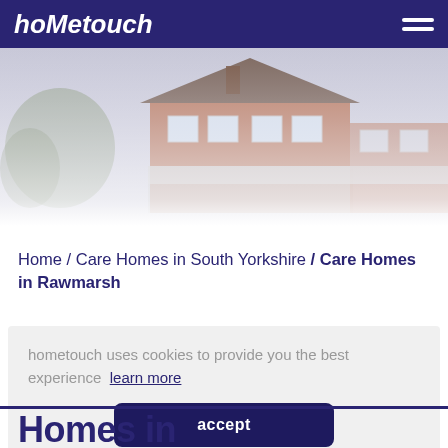hometouch
[Figure (photo): Exterior photo of a brick residential house/care home with white window frames, partially faded to white at the bottom]
Home / Care Homes in South Yorkshire / Care Homes in Rawmarsh
hometouch uses cookies to provide you the best experience  learn more
accept
Homes in